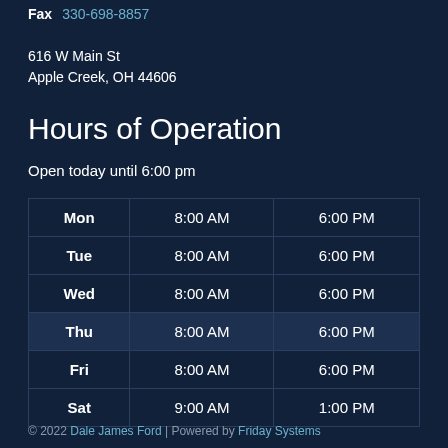Fax 330-698-8857
616 W Main St
Apple Creek, OH 44606
Hours of Operation
Open today until 6:00 pm
| Day | Open | Close |
| --- | --- | --- |
| Mon | 8:00 AM | 6:00 PM |
| Tue | 8:00 AM | 6:00 PM |
| Wed | 8:00 AM | 6:00 PM |
| Thu | 8:00 AM | 6:00 PM |
| Fri | 8:00 AM | 6:00 PM |
| Sat | 9:00 AM | 1:00 PM |
© 2022 Dale James Ford | Powered by Friday Systems